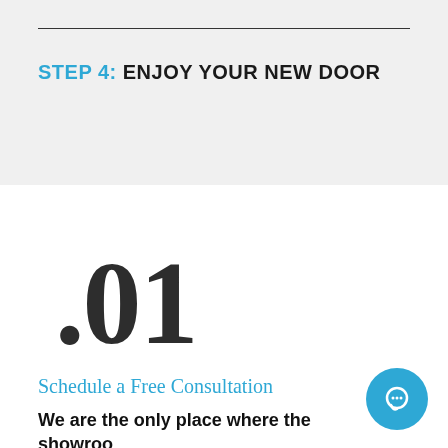STEP 4: ENJOY YOUR NEW DOOR
.01
Schedule a Free Consultation
We are the only place where the showroom will come to you! Our friendly and